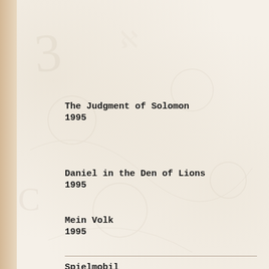The Judgment of Solomon
1995
Daniel in the Den of Lions
1995
Mein Volk
1995
Spielmobil
1995